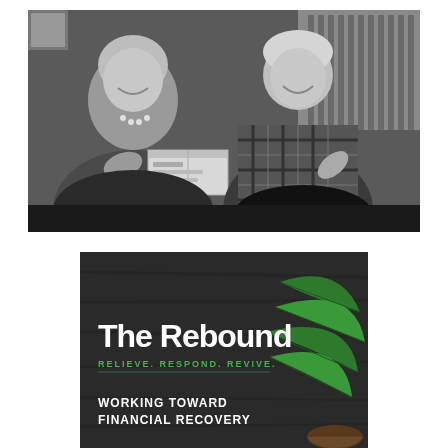[Figure (photo): Black and white photograph of two women smiling and exchanging a gift box, 1950s style.]
[Figure (illustration): Promotional card with dark background and green plant leaves. Text reads: 'The Rebound', 'RELIEVE. RESPOND. REVIVE.', 'WORKING TOWARD FINANCIAL RECOVERY'.]